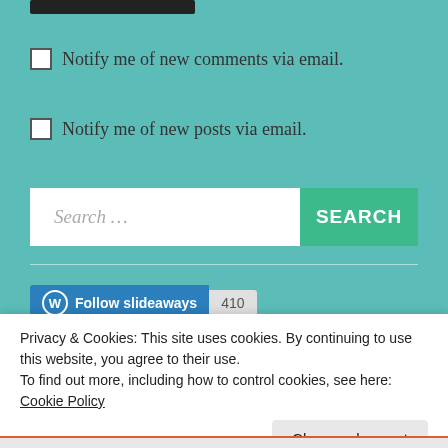[Figure (screenshot): Black navigation/header bar at top]
Notify me of new comments via email.
Notify me of new posts via email.
Search …  SEARCH
[Figure (screenshot): Follow slideaways button with 410 followers count]
Privacy & Cookies: This site uses cookies. By continuing to use this website, you agree to their use.
To find out more, including how to control cookies, see here: Cookie Policy
Close and accept